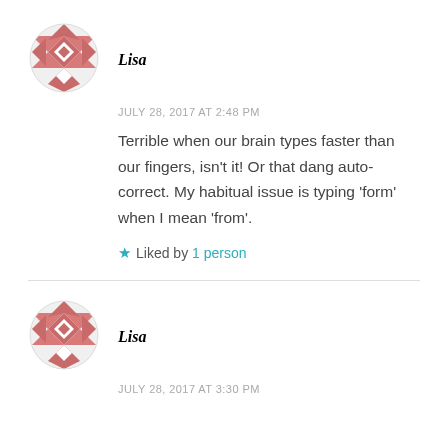[Figure (illustration): Circular avatar with salmon/rose colored geometric quilt-like pattern (diamond shapes with triangles)]
Lisa
JULY 28, 2017 AT 2:48 PM
Terrible when our brain types faster than our fingers, isn't it! Or that dang auto-correct. My habitual issue is typing ‘form’ when I mean ‘from’.
★ Liked by 1 person
[Figure (illustration): Circular avatar with salmon/rose colored geometric quilt-like pattern (diamond shapes with triangles)]
Lisa